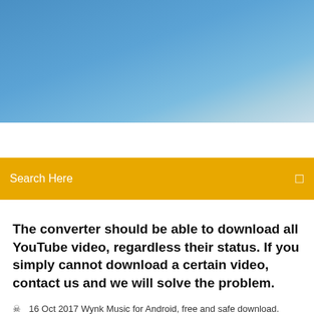[Figure (photo): Blue sky background banner image at top of page]
Search Here
The converter should be able to download all YouTube video, regardless their status. If you simply cannot download a certain video, contact us and we will solve the problem.
16 Oct 2017 Wynk Music for Android, free and safe download. Wynk Music latest version: Listen to Hindi and international hits on your smartphone.   |
6 Comments